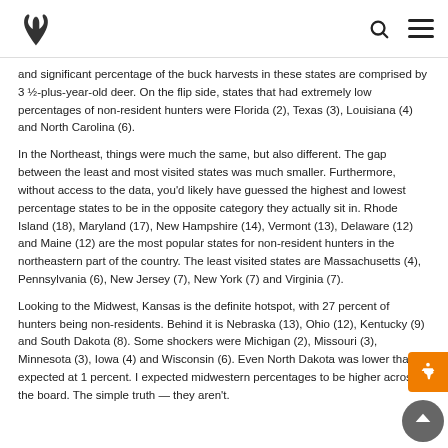Realtree logo, search icon, menu icon
and significant percentage of the buck harvests in these states are comprised by 3 ½-plus-year-old deer. On the flip side, states that had extremely low percentages of non-resident hunters were Florida (2), Texas (3), Louisiana (4) and North Carolina (6).
In the Northeast, things were much the same, but also different. The gap between the least and most visited states was much smaller. Furthermore, without access to the data, you'd likely have guessed the highest and lowest percentage states to be in the opposite category they actually sit in. Rhode Island (18), Maryland (17), New Hampshire (14), Vermont (13), Delaware (12) and Maine (12) are the most popular states for non-resident hunters in the northeastern part of the country. The least visited states are Massachusetts (4), Pennsylvania (6), New Jersey (7), New York (7) and Virginia (7).
Looking to the Midwest, Kansas is the definite hotspot, with 27 percent of hunters being non-residents. Behind it is Nebraska (13), Ohio (12), Kentucky (9) and South Dakota (8). Some shockers were Michigan (2), Missouri (3), Minnesota (3), Iowa (4) and Wisconsin (6). Even North Dakota was lower than expected at 1 percent. I expected midwestern percentages to be higher across the board. The simple truth — they aren't.